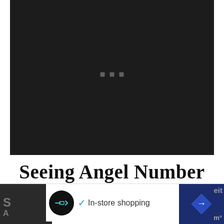[Figure (photo): Dark near-black image with three faint small light squares/dots visible near center, resembling a night sky or dark background with minimal visible content.]
Seeing Angel Number 675 Regularly?
[Figure (screenshot): Bottom ad bar showing: left dark section with partial letters, center white section with circular black icon and 'In-store shopping' text with checkmark, right dark blue section with white arrow/navigation icon and partial text.]